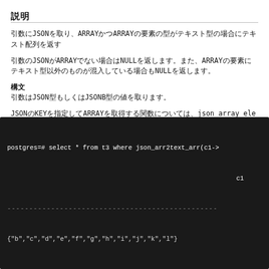説明
引数にJSONを取り、ARRAYかつARRAYの要素の型がテキスト型の場合にテキスト配列を返す
引数のJSONがARRAYでない場合はNULLを返します。また、ARRAYの要素にテキスト型以外のものが混入している場合もNULLを返します。
構文
引数はJSON型もしくはJSONB型の値を取ります。
JSONのKEYを指定してARRAYを取得する関数については、json_array_elements関数、jsonb_array_elements関数を参照してください。
例：'a'を含む
[Figure (screenshot): Terminal code block showing: postgres=# select * from t3 where json_arr2text_arr(c1-> with column c1 and dashed separator line followed by result row]